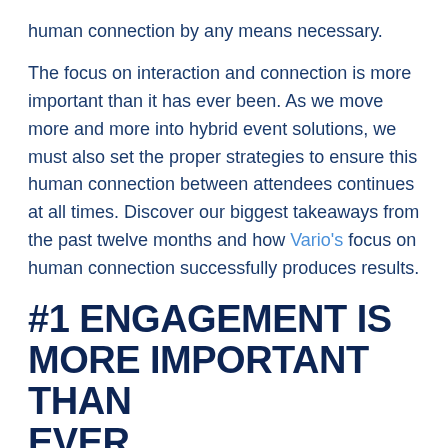human connection by any means necessary.
The focus on interaction and connection is more important than it has ever been. As we move more and more into hybrid event solutions, we must also set the proper strategies to ensure this human connection between attendees continues at all times. Discover our biggest takeaways from the past twelve months and how Vario’s focus on human connection successfully produces results.
#1 ENGAGEMENT IS MORE IMPORTANT THAN EVER
The human experience will always be such that in-person interaction is integral to the way we